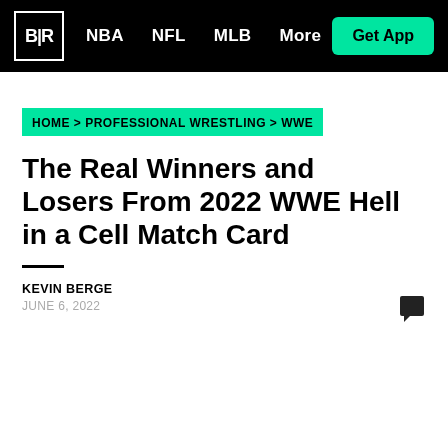B|R  NBA  NFL  MLB  More  Get App
HOME > PROFESSIONAL WRESTLING > WWE
The Real Winners and Losers From 2022 WWE Hell in a Cell Match Card
KEVIN BERGE
JUNE 6, 2022
[Figure (photo): Blurred photo of WWE wrestlers, with Previous/Next navigation overlay and X close button]